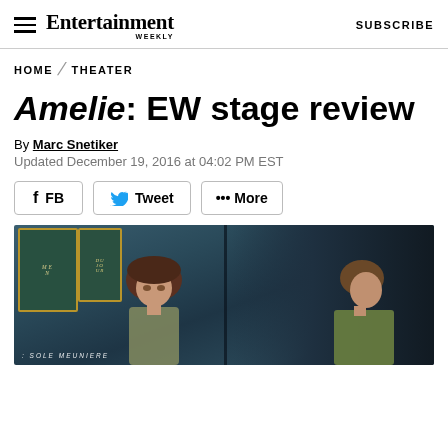Entertainment Weekly — SUBSCRIBE
HOME / THEATER
Amelie: EW stage review
By Marc Snetiker
Updated December 19, 2016 at 04:02 PM EST
FB | Tweet | ••• More
[Figure (photo): Two actors on stage in a cafe-themed set. A woman with dark hair looks upward on the left; a man in a green shirt faces her from the right. Chalkboard signs with text including 'SOLE MEUNIERE' visible in lower portion.]